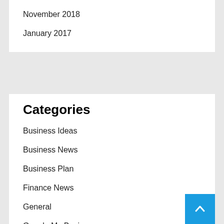November 2018
January 2017
Categories
Business Ideas
Business News
Business Plan
Finance News
General
Google My Business
Marketing Business